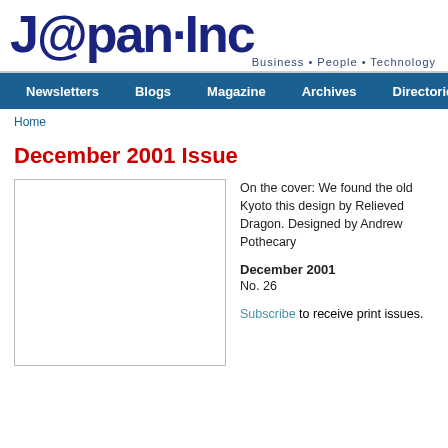Japan Inc - Business • People • Technology
Newsletters  Blogs  Magazine  Archives  Directories
Home
December 2001 Issue
[Figure (other): Magazine cover image placeholder (empty white box with border)]
On the cover: We found the old Kyoto this design by Relieved Dragon. Designed by Andrew Pothecary
December 2001
No. 26
Subscribe to receive print issues.